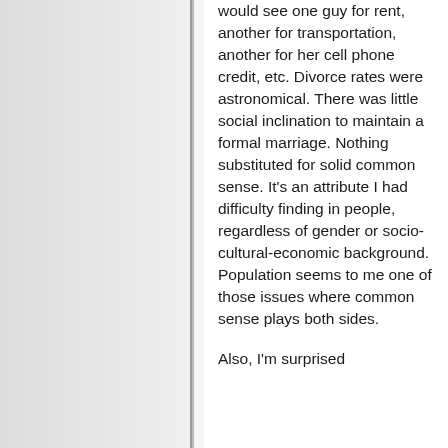would see one guy for rent, another for transportation, another for her cell phone credit, etc. Divorce rates were astronomical. There was little social inclination to maintain a formal marriage. Nothing substituted for solid common sense. It's an attribute I had difficulty finding in people, regardless of gender or socio-cultural-economic background. Population seems to me one of those issues where common sense plays both sides.

Also, I'm surprised